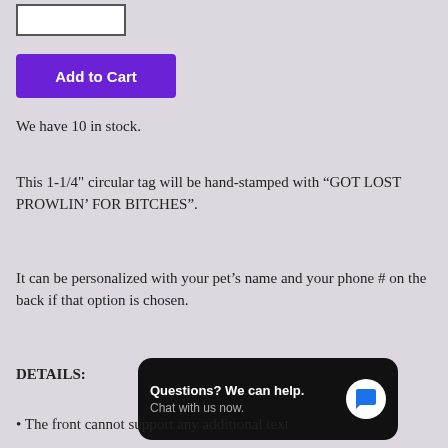[Figure (other): Quantity input box, partially visible at top]
Add to Cart
We have 10 in stock.
This 1-1/4" circular tag will be hand-stamped with “GOT LOST PROWLIN’ FOR BITCHES”.
It can be personalized with your pet’s name and your phone # on the back if that option is chosen.
DETAILS:
The front cannot support any additional text